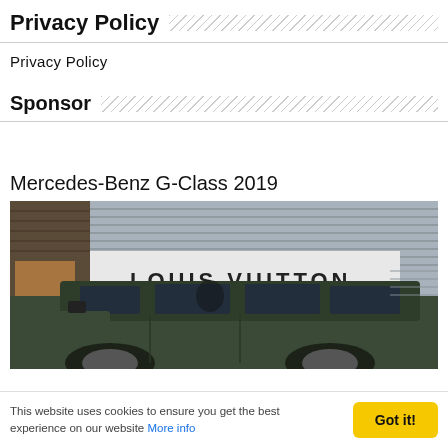Privacy Policy
Privacy Policy
Sponsor
Mercedes-Benz G-Class 2019
[Figure (photo): A dark green Mercedes-Benz G-Class SUV parked in front of a Louis Vuitton store. The store facade is white with silver horizontal louvers and the LOUIS VUITTON signage is prominently displayed.]
This website uses cookies to ensure you get the best experience on our website More info Got it!